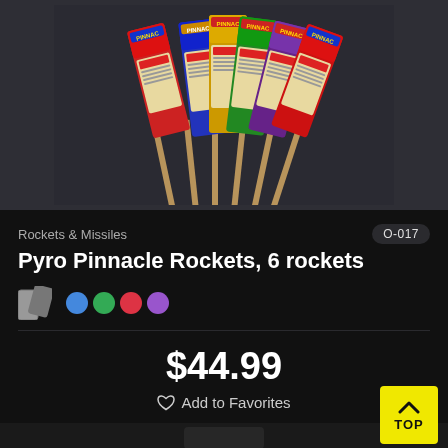[Figure (photo): Product photo of Pyro Pinnacle Rockets showing 6 colorful rocket fireworks with wooden sticks fanned out against a dark background]
Rockets & Missiles
O-017
Pyro Pinnacle Rockets, 6 rockets
[Figure (other): Color swatch icon and colored dots representing product color variants: blue, green, red/pink, purple]
$44.99
Add to Favorites